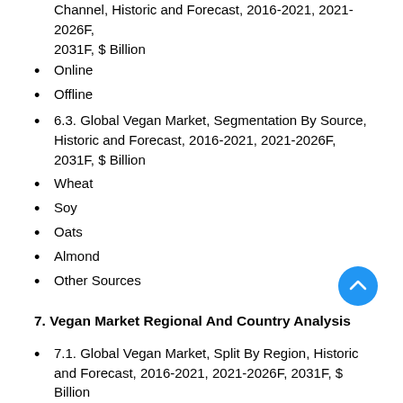Channel, Historic and Forecast, 2016-2021, 2021-2026F, 2031F, $ Billion
Online
Offline
6.3. Global Vegan Market, Segmentation By Source, Historic and Forecast, 2016-2021, 2021-2026F, 2031F, $ Billion
Wheat
Soy
Oats
Almond
Other Sources
7. Vegan Market Regional And Country Analysis
7.1. Global Vegan Market, Split By Region, Historic and Forecast, 2016-2021, 2021-2026F, 2031F, $ Billion
7.2. Global Vegan Market, Split By Country, Historic and Forecast, 2016-2021, 2021-2026F, 2031F, $ Billion
8. Asia-Pacific Vegan Market
8.1. Asia-Pacific Vegan Market Overview